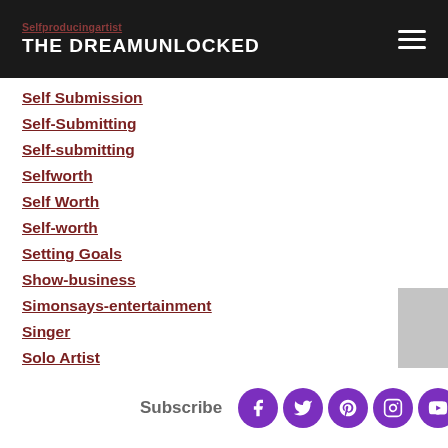THE DREAMUNLOCKED / Selfproducingartist
Self Submission
Self-Submitting
Self-submitting
Selfworth
Self Worth
Self-worth
Setting Goals
Show-business
Simonsays-entertainment
Singer
Solo Artist
Solo Performer
Solo Play
Solo Show
Soulfood
Subscribe